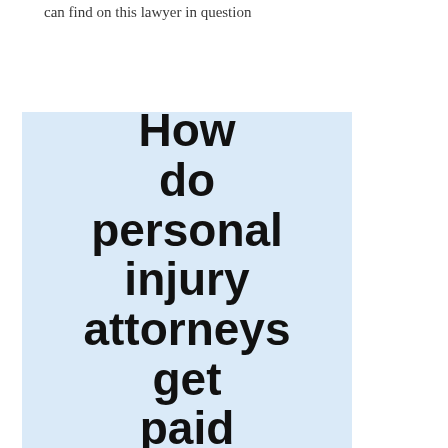can find on this lawyer in question
[Figure (infographic): Light blue box containing large bold text reading 'How do personal injury attorneys get paid']